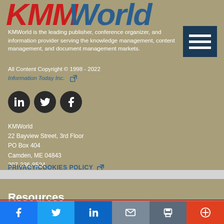[Figure (logo): KMWorld logo with KMM in red italic and World in blue italic]
KMWorld is the leading publisher, conference organizer, and information provider serving the knowledge management, content management, and document management markets.
All Content Copyright © 1998 - 2022
Information Today Inc.
[Figure (illustration): Three social media icons: LinkedIn, Twitter, Facebook in dark circles]
KMWorld
22 Bayview Street, 3rd Floor
PO Box 404
Camden, ME 04843
207-236-8524
PRIVACY/COOKIES POLICY
Resources